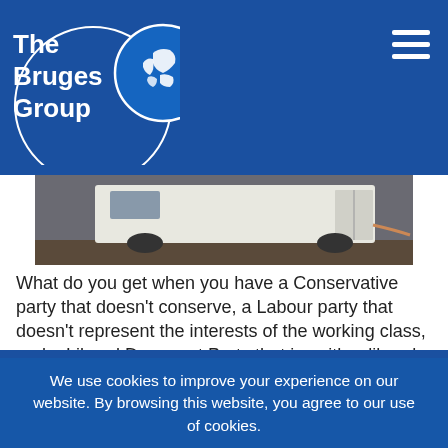The Bruges Group
[Figure (photo): Partial view of a white van at a petrol station or loading area, photographed from behind-side angle]
What do you get when you have a Conservative party that doesn't conserve, a Labour party that doesn't represent the interests of the working class, and a Liberal Democrat Party that is neither liberal nor democratic?
The answer is, a pretty accurate description of the current
We use cookies to improve your experience on our website. By browsing this website, you agree to our use of cookies.
Ok, I've understood!
Decline